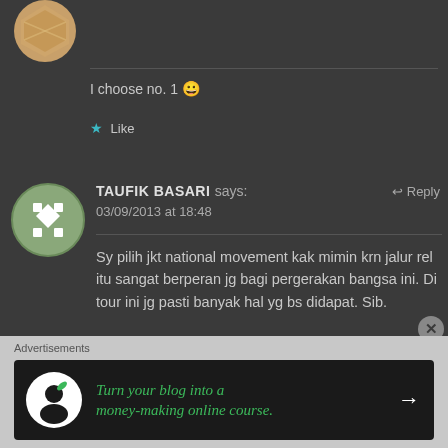[Figure (illustration): Partial avatar icon at top left, tan/orange geometric design, partially cropped]
I choose no. 1 😀
★ Like
[Figure (illustration): Round avatar with green/sage background and white geometric diamond cross pattern — Taufik Basari profile icon]
TAUFIK BASARI says:
03/09/2013 at 18:48
Reply
Sy pilih jkt national movement kak mimin krn jalur rel itu sangat berperan jg bagi pergerakan bangsa ini. Di tour ini jg pasti banyak hal yg bs didapat. Sib.
Advertisements
[Figure (screenshot): Advertisement banner: dark background with a white circle icon of a person with a leaf, green italic text 'Turn your blog into a money-making online course.' and a white arrow pointing right]